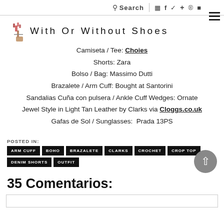Search | social icons | hamburger menu
With Or Without Shoes
Camiseta / Tee: Choies
Shorts: Zara
Bolso / Bag: Massimo Dutti
Brazalete / Arm Cuff: Bought at Santorini
Sandalias Cuña con pulsera / Ankle Cuff Wedges: Ornate Jewel Style in Light Tan Leather by Clarks via Cloggs.co.uk
Gafas de Sol / Sunglasses:  Prada 13PS
POSTED IN: ARM CUFF  BOHO  BRAZALETE  CLARKS  CROCHET  CROP TOP  DENIM SHORTS  OUTFIT
35 Comentarios: